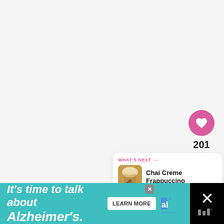[Figure (screenshot): White/light grey main content area taking up most of the page, likely a recipe or blog page background]
[Figure (infographic): Right sidebar UI with pink heart button (like/save), count of 201, and share button (circular grey with share icon)]
201
[Figure (infographic): What's Next card showing a thumbnail image of a frothy drink and text 'Chai Creme Frappuccino' with pink label 'WHAT'S NEXT →']
WHAT'S NEXT → Chai Creme Frappuccino
[Figure (logo): Mediavine logo (stylized bars with degree symbol) in grey]
[Figure (infographic): Ad banner: teal background with italic white bold text 'It's time to talk about Alzheimer's.' with a 'LEARN MORE' button, Alzheimer's Association logo, and close X. Right side black panel with X icon and Mediavine logo.]